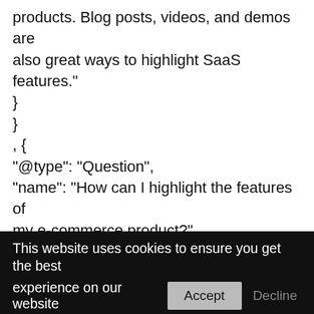products. Blog posts, videos, and demos are also great ways to highlight SaaS features."
}
}
, {
"@type": "Question",
"name": "How can I highlight the features of my e-commerce product?",
"acceptedAnswer": {
"@type": "Answer",
"text": "Your product description is the best place to highlight the features of your e-commerce product. Make sure they are easy to read and stand out from the rest of
This website uses cookies to ensure you get the best experience on our website
Accept
Decline
Cookie Policy